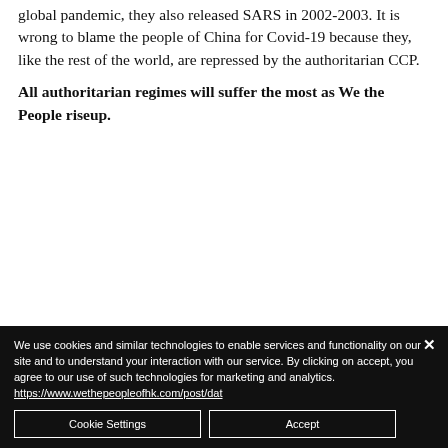global pandemic, they also released SARS in 2002-2003. It is wrong to blame the people of China for Covid-19 because they, like the rest of the world, are repressed by the authoritarian CCP.
All authoritarian regimes will suffer the most as We the People riseup.
We use cookies and similar technologies to enable services and functionality on our site and to understand your interaction with our service. By clicking on accept, you agree to our use of such technologies for marketing and analytics. https://www.wethepeopleofhk.com/post/dat